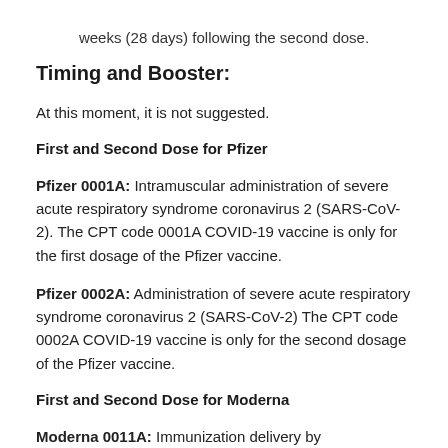weeks (28 days) following the second dose.
Timing and Booster:
At this moment, it is not suggested.
First and Second Dose for Pfizer
Pfizer 0001A: Intramuscular administration of severe acute respiratory syndrome coronavirus 2 (SARS-CoV-2). The CPT code 0001A COVID-19 vaccine is only for the first dosage of the Pfizer vaccine.
Pfizer 0002A: Administration of severe acute respiratory syndrome coronavirus 2 (SARS-CoV-2) The CPT code 0002A COVID-19 vaccine is only for the second dosage of the Pfizer vaccine.
First and Second Dose for Moderna
Moderna 0011A: Immunization delivery by intramuscular